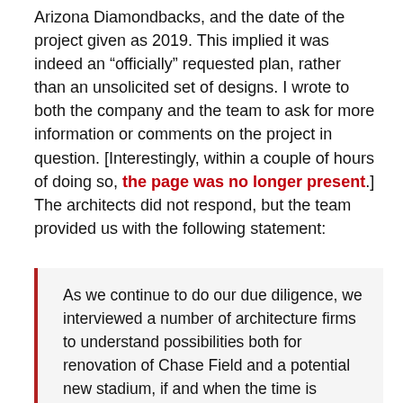Arizona Diamondbacks, and the date of the project given as 2019. This implied it was indeed an “officially” requested plan, rather than an unsolicited set of designs. I wrote to both the company and the team to ask for more information or comments on the project in question. [Interestingly, within a couple of hours of doing so, the page was no longer present.] The architects did not respond, but the team provided us with the following statement:
As we continue to do our due diligence, we interviewed a number of architecture firms to understand possibilities both for renovation of Chase Field and a potential new stadium, if and when the time is needed. We have never seen this design and we continue to consider all options to ensure the best long-term home for the D-backs and our fans.